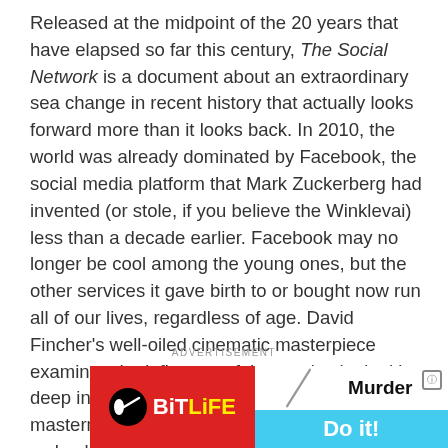Released at the midpoint of the 20 years that have elapsed so far this century, The Social Network is a document about an extraordinary sea change in recent history that actually looks forward more than it looks back. In 2010, the world was already dominated by Facebook, the social media platform that Mark Zuckerberg had invented (or stole, if you believe the Winklevai) less than a decade earlier. Facebook may no longer be cool among the young ones, but the other services it gave birth to or bought now run all of our lives, regardless of age. David Fincher's well-oiled cinematic masterpiece examines the influence of the service by looking deep into the eyes of its semi-sociopathic mastermind. Jesse Eisenberg as Zuckerberg is a shockingly cutthroat young man who develops an elaborate way to dress his own wounds, wounds that have developed from his fears of exclusion and
ADVERTISEMENT
[Figure (other): BitLife app advertisement banner showing red background with white sperm-like icon and BiTLiFE logo on the left, and a white/cyan right side showing 'Murder Do it!' text with a diagonal slash graphic and info icon.]